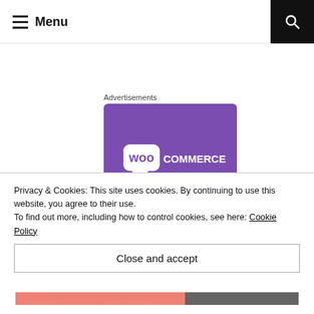≡ Menu
Advertisements
[Figure (logo): WooCommerce logo on purple card with orange accent at bottom]
Privacy & Cookies: This site uses cookies. By continuing to use this website, you agree to their use.
To find out more, including how to control cookies, see here: Cookie Policy
Close and accept